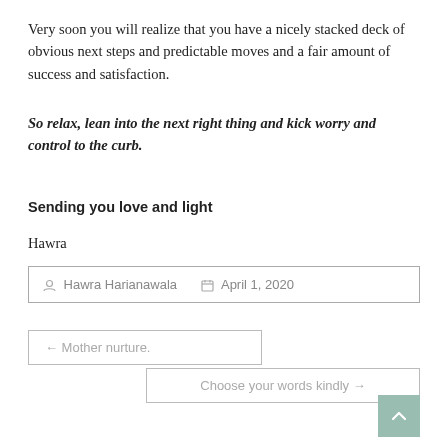Very soon you will realize that you have a nicely stacked deck of obvious next steps and predictable moves and a fair amount of success and satisfaction.
So relax, lean into the next right thing and kick worry and control to the curb.
Sending you love and light
Hawra
| Hawra Harianawala | April 1, 2020 |
← Mother nurture.
Choose your words kindly →